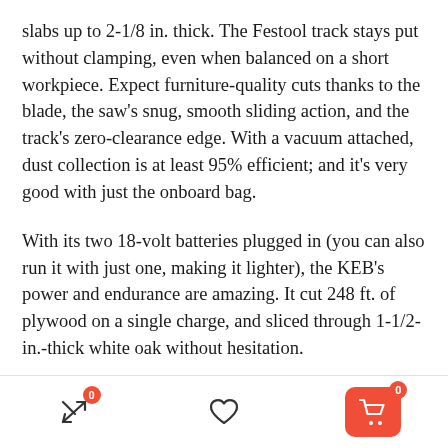slabs up to 2-1/8 in. thick. The Festool track stays put without clamping, even when balanced on a short workpiece. Expect furniture-quality cuts thanks to the blade, the saw's snug, smooth sliding action, and the track's zero-clearance edge. With a vacuum attached, dust collection is at least 95% efficient; and it's very good with just the onboard bag.
With its two 18-volt batteries plugged in (you can also run it with just one, making it lighter), the KEB's power and endurance are amazing. It cut 248 ft. of plywood on a single charge, and sliced through 1-1/2-in.-thick white oak without hesitation.
[Figure (other): Bottom navigation bar with compare icon (badge 0), heart/wishlist icon, and shopping cart button (badge 0) on a red background]